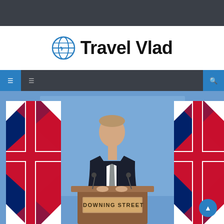Travel Vlad website header with dark top bar
[Figure (logo): Travel Vlad logo with blue globe/travel icon and bold black text 'Travel Vlad']
[Figure (photo): A man in a dark suit with a grey tie speaking at a wooden podium labeled 'DOWNING STREET', with two Union Jack flags flanking him and a blue background behind him]